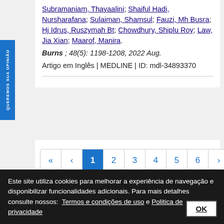Subramaniam, Thayaalini; Shaiful Hadi, Nursharafana; Sulaiman, Shamsul; Fauzi, Mh Busra; Hj Idrus, Ruszymah Bt; Chowdhury, Shiplu Roy; Law, Jia Xian; Maarof, Manira.
Burns ; 48(5): 1198-1208, 2022 Aug.
Artigo em Inglês | MEDLINE | ID: mdl-34893370
« < 1 2 3 4 5 6 > »
Este site utiliza cookies para melhorar a experiência de navegação e disponibilizar funcionalidades adicionais. Para mais detalhes consulte nossos: Termos e condições de uso e Politica de privacidade